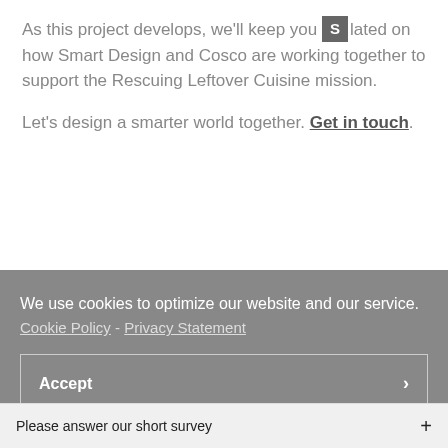As this project develops, we'll keep you updated on how Smart Design and Cosco are working together to support the Rescuing Leftover Cuisine mission.
Let's design a smarter world together. Get in touch.
We use cookies to optimize our website and our service.
Cookie Policy - Privacy Statement
Accept >
Please answer our short survey +